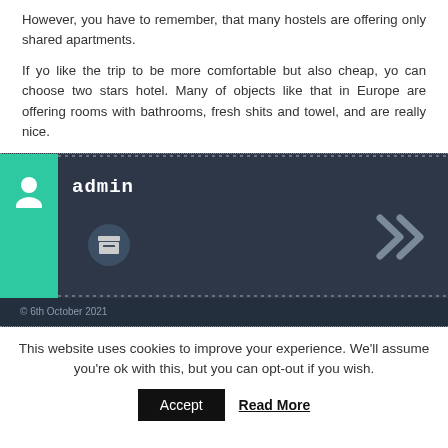However, you have to remember, that many hostels are offering only shared apartments.
If yo like the trip to be more comfortable but also cheap, yo can choose two stars hotel. Many of objects like that in Europe are offering rooms with bathrooms, fresh shits and towel, and are really nice.
[Figure (screenshot): Admin author banner with teal sidebar, user icon, bold 'admin' text, archive icon, and double chevron navigation arrow on dark background]
This website uses cookies to improve your experience. We'll assume you're ok with this, but you can opt-out if you wish.
Accept   Read More